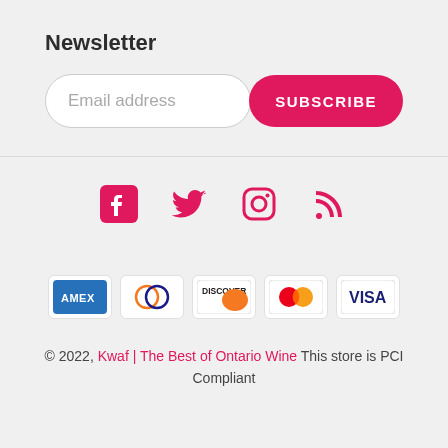Newsletter
Email address
SUBSCRIBE
[Figure (logo): Social media icons: Facebook, Twitter, Instagram, RSS feed]
[Figure (logo): Payment method logos: AMEX, Diners Club, Discover, Mastercard, Visa]
© 2022, Kwaf | The Best of Ontario Wine This store is PCI Compliant